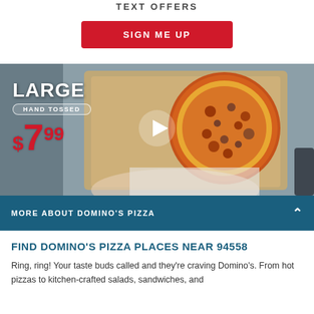TEXT OFFERS
SIGN ME UP
[Figure (photo): Photo of a large hand-tossed pizza in an open cardboard box overlaid with text: LARGE, HAND TOSSED, $7.99 and a play button icon in the center.]
MORE ABOUT DOMINO'S PIZZA
FIND DOMINO'S PIZZA PLACES NEAR 94558
Ring, ring! Your taste buds called and they're craving Domino's. From hot pizzas to kitchen-crafted salads, sandwiches, and more, a local Domino's pizza place near 94558 has it all. Find